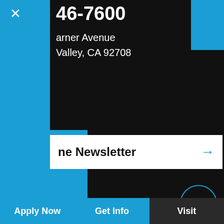×
46-7600
arner Avenue
Valley, CA 92708
ne Newsletter →
[Figure (logo): Twitter bird icon in a dark circle with blue border]
[Figure (logo): Instagram icon in a dark circle with blue border]
[Figure (logo): Facebook f icon in a dark circle with blue border]
[Figure (other): Search magnifying glass icon in blue box]
Calendar
e Blog
→
afety
Apply Now
Get Info
Visit